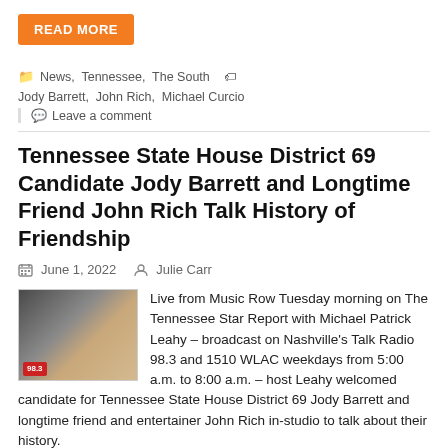READ MORE
News, Tennessee, The South   Jody Barrett, John Rich, Michael Curcio
Leave a comment
Tennessee State House District 69 Candidate Jody Barrett and Longtime Friend John Rich Talk History of Friendship
June 1, 2022   Julie Carr
Live from Music Row Tuesday morning on The Tennessee Star Report with Michael Patrick Leahy – broadcast on Nashville's Talk Radio 98.3 and 1510 WLAC weekdays from 5:00 a.m. to 8:00 a.m. – host Leahy welcomed candidate for Tennessee State House District 69 Jody Barrett and longtime friend and entertainer John Rich in-studio to talk about their history.